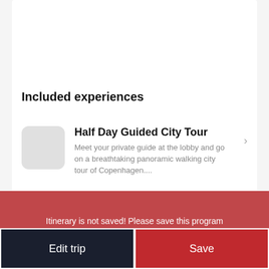Included experiences
Half Day Guided City Tour
Meet your private guide at the lobby and go on a breathtaking panoramic walking city tour of Copenhagen....
+ Add Experiences
Itinerary is not saved! Please save this program
Edit trip
Save